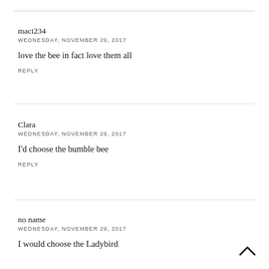maci234
WEDNESDAY, NOVEMBER 29, 2017
love the bee in fact love them all
REPLY
Clara
WEDNESDAY, NOVEMBER 29, 2017
I'd choose the bumble bee
REPLY
no name
WEDNESDAY, NOVEMBER 29, 2017
I would choose the Ladybird